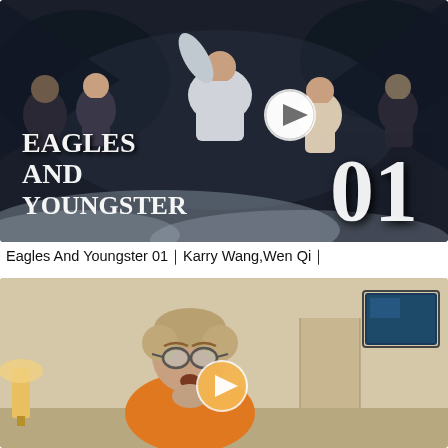[Figure (photo): Thumbnail image for 'Eagles And Youngster 01' showing multiple characters in winter outfits posed dramatically, with the title 'Eagles And Youngster' and episode number '01' overlaid in white text, and a circular play button icon in the center.]
Eagles And Youngster 01｜Karry Wang,Wen Qi｜
[Figure (photo): Thumbnail image showing a man with glasses and an orange shirt making a surprised/shocked facial expression, with a room interior in the background including a TV and lamp. A circular play button overlay is visible in the center of the image.]